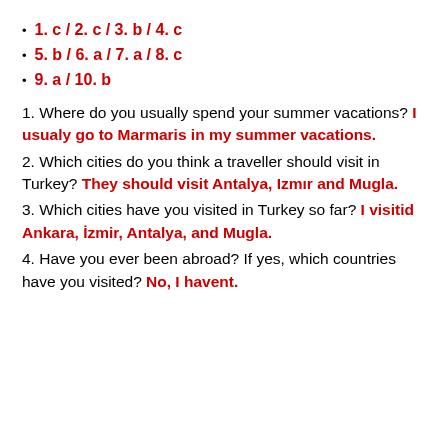1. c / 2. c / 3. b / 4. c
5. b / 6. a / 7. a / 8. c
9. a / 10. b
1. Where do you usually spend your summer vacations? I usualy go to Marmaris in my summer vacations.
2. Which cities do you think a traveller should visit in Turkey? They should visit Antalya, Izmır and Mugla.
3. Which cities have you visited in Turkey so far? I visitid Ankara, İzmir, Antalya, and Mugla.
4. Have you ever been abroad? If yes, which countries have you visited? No, I havent.